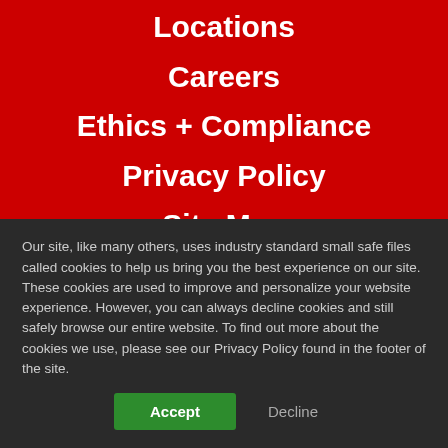Locations
Careers
Ethics + Compliance
Privacy Policy
Site Map
Terms
©2016-2021 CannonDesign all rights reserved
If you are unable to fully access the content, features or functionality of this website because of a disability, please send a request to
Our site, like many others, uses industry standard small safe files called cookies to help us bring you the best experience on our site. These cookies are used to improve and personalize your website experience. However, you can always decline cookies and still safely browse our entire website. To find out more about the cookies we use, please see our Privacy Policy found in the footer of the site.